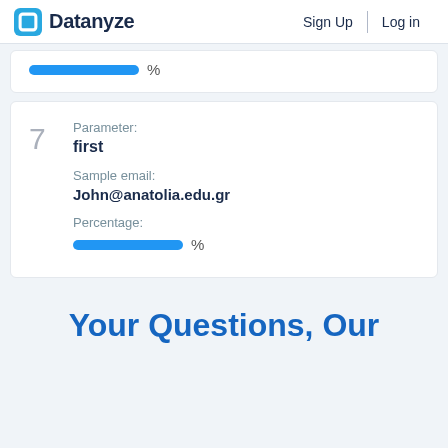Datanyze   Sign Up   Log in
[Figure (other): Blue progress bar with percent sign (partial, top of card)]
Parameter: first
Sample email: John@anatolia.edu.gr
Percentage:
[Figure (other): Blue progress bar with percent sign]
Your Questions, Our